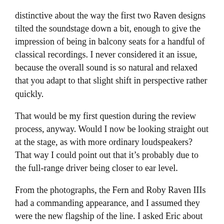distinctive about the way the first two Raven designs tilted the soundstage down a bit, enough to give the impression of being in balcony seats for a handful of classical recordings. I never considered it an issue, because the overall sound is so natural and relaxed that you adapt to that slight shift in perspective rather quickly.
That would be my first question during the review process, anyway. Would I now be looking straight out at the stage, as with more ordinary loudspeakers? That way I could point out that it's probably due to the full-range driver being closer to ear level.
From the photographs, the Fern and Roby Raven IIIs had a commanding appearance, and I assumed they were the new flagship of the line. I asked Eric about the final MSRP, and he said $8,500 per pair. That's about halfway between the price of the Raven and the Raven II, so it didn't make sense to me at first. I asked Eric, “Why not more?”
“Because Christmas…” he said, “to all of them”